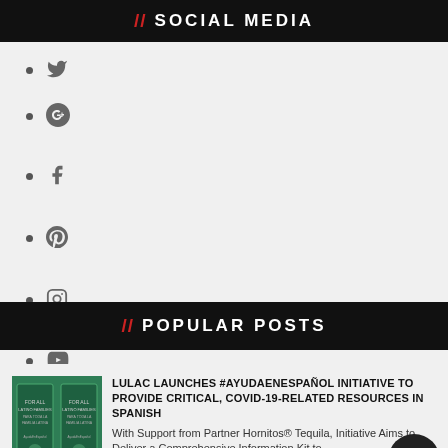// SOCIAL MEDIA
Twitter icon
Google+ icon
Facebook icon
Pinterest icon
Instagram icon
YouTube icon
// POPULAR POSTS
[Figure (photo): Two green product boxes for Ayuda en Español initiative]
LULAC LAUNCHES #AYUDAENESPAÑOL INITIATIVE TO PROVIDE CRITICAL, COVID-19-RELATED RESOURCES IN SPANISH
With Support from Partner Hornitos® Tequila, Initiative Aims to Deliver a Comprehensive Information Kit to